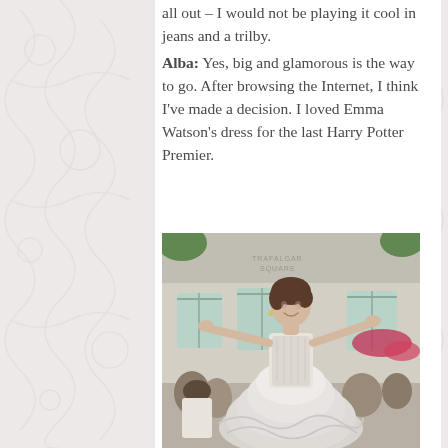all out – I would not be playing it cool in jeans and a trilby.
Alba: Yes, big and glamorous is the way to go. After browsing the Internet, I think I've made a decision. I loved Emma Watson's dress for the last Harry Potter Premier.
[Figure (photo): Emma Watson in a white/silver ruffled tulle ball gown with strapless beaded bodice, arms outstretched, standing in front of a classical building at the Harry Potter premiere. Crowd visible in background.]